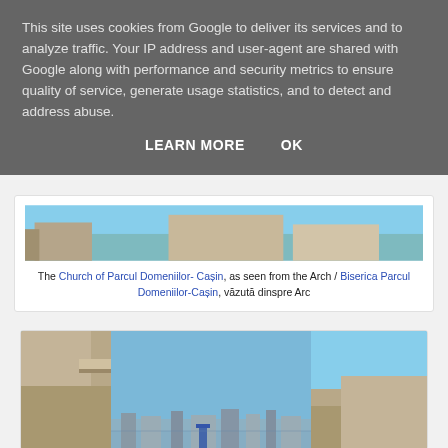This site uses cookies from Google to deliver its services and to analyze traffic. Your IP address and user-agent are shared with Google along with performance and security metrics to ensure quality of service, generate usage statistics, and to detect and address abuse.
LEARN MORE   OK
The Church of Parcul Domeniilor- Cașin, as seen from the Arch / Biserica Parcul Domeniilor-Cașin, văzută dinspre Arc
[Figure (photo): Architectural photo showing a concrete/stone building structure with stepped elements against a blue sky, with a cityscape visible in the background. Appears to be the Church of Parcul Domeniilor-Casin viewed from elevation.]